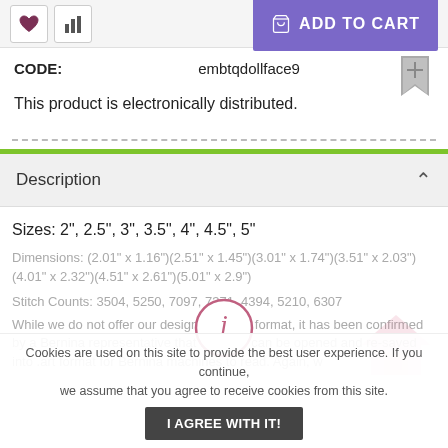[Figure (screenshot): Top navigation bar with heart icon, bar chart icon, and purple ADD TO CART button with shopping basket icon]
CODE:    embtqdollface9
This product is electronically distributed.
Description
Sizes: 2", 2.5", 3", 3.5", 4", 4.5", 5"
Dimensions: (2.01" x 1.16")(2.51" x 1.45")(3.01" x 1.74")(3.51" x 2.03")(4.01" x 2.32")(4.51" x 2.61")(5.01" x 2.9")
Stitch Counts: 3504, 5250, 7097, 7371, 4394, 5210, 6307
While we do not offer our designs in .ART format, it has been confirmed by a Bernina representative that .dst files can be opened and re-saved into .art format for Bernina machines to read. Again, w
Cookies are used on this site to provide the best user experience. If you continue, we assume that you agree to receive cookies from this site.
I AGREE WITH IT!